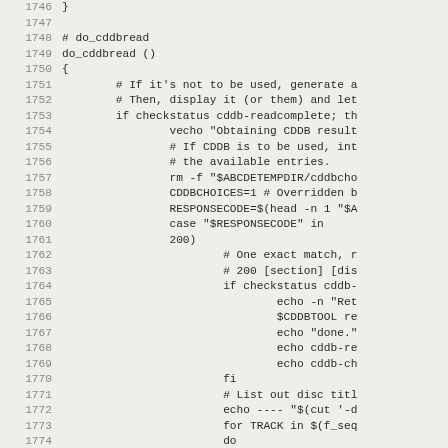Source code listing, lines 1746-1778, shell script do_cddbread function